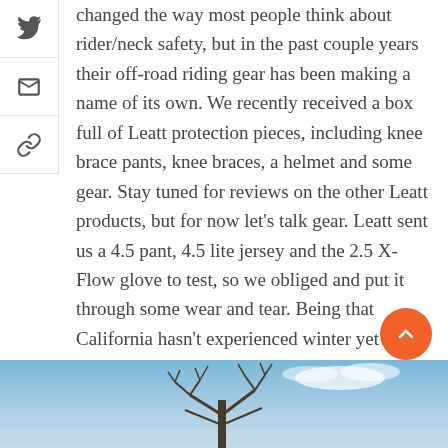[Figure (other): Social share icons sidebar: Twitter bird icon, email/envelope icon, link/chain icon]
changed the way most people think about rider/neck safety, but in the past couple years their off-road riding gear has been making a name of its own. We recently received a box full of Leatt protection pieces, including knee brace pants, knee braces, a helmet and some gear. Stay tuned for reviews on the other Leatt products, but for now let's talk gear. Leatt sent us a 4.5 pant, 4.5 lite jersey and the 2.5 X-Flow glove to test, so we obliged and put it through some wear and tear. Being that California hasn't experienced winter yet this year I was just fine with testing a more lightweight, vented gear set in mid-January. Don't be jealous Minnesota peeps!
[Figure (photo): Outdoor winter sky photo with bare tree branches against a blue sky with white clouds]